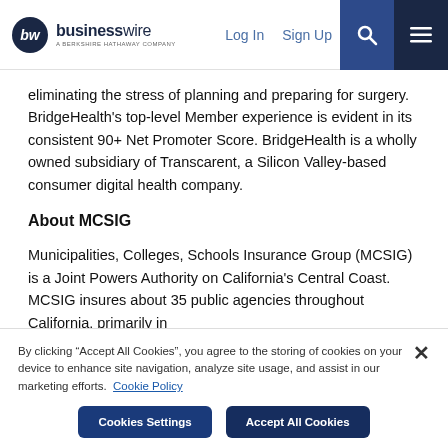businesswire — A BERKSHIRE HATHAWAY COMPANY | Log In | Sign Up
eliminating the stress of planning and preparing for surgery. BridgeHealth's top-level Member experience is evident in its consistent 90+ Net Promoter Score. BridgeHealth is a wholly owned subsidiary of Transcarent, a Silicon Valley-based consumer digital health company.
About MCSIG
Municipalities, Colleges, Schools Insurance Group (MCSIG) is a Joint Powers Authority on California's Central Coast. MCSIG insures about 35 public agencies throughout California, primarily in
By clicking “Accept All Cookies”, you agree to the storing of cookies on your device to enhance site navigation, analyze site usage, and assist in our marketing efforts.  Cookie Policy
Cookies Settings | Accept All Cookies